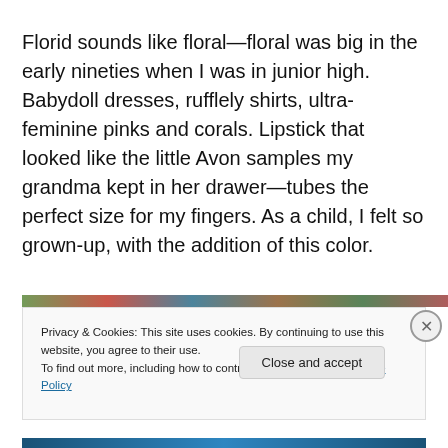Florid sounds like floral—floral was big in the early nineties when I was in junior high. Babydoll dresses, rufflely shirts, ultra-feminine pinks and corals. Lipstick that looked like the little Avon samples my grandma kept in her drawer—tubes the perfect size for my fingers. As a child, I felt so grown-up, with the addition of this color.
[Figure (photo): Partial decorative image strip visible at the top of the cookie banner area]
Privacy & Cookies: This site uses cookies. By continuing to use this website, you agree to their use.
To find out more, including how to control cookies, see here: Cookie Policy
Close and accept